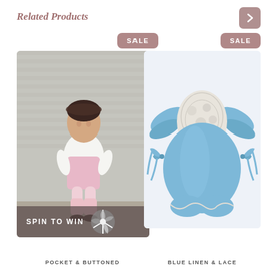Related Products
[Figure (photo): Baby girl wearing pink romper with white undershirt and floral headband, standing against a grey brick wall]
[Figure (photo): Blue linen and lace baby romper with ruffled sleeves and bow ties on the sides, displayed on white background]
POCKET & BUTTONED
BLUE LINEN & LACE